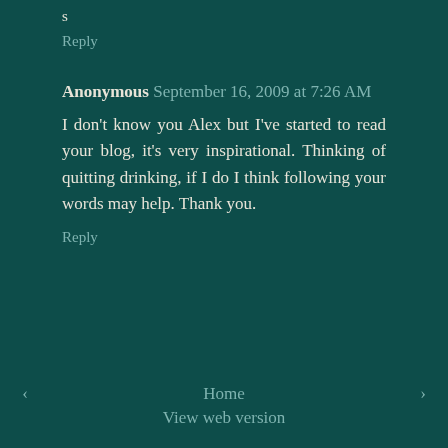s
Reply
Anonymous September 16, 2009 at 7:26 AM
I don't know you Alex but I've started to read your blog, it's very inspirational. Thinking of quitting drinking, if I do I think following your words may help. Thank you.
Reply
‹ Home › View web version